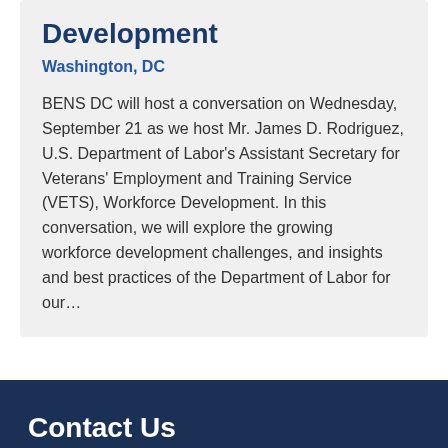Development
Washington, DC
BENS DC will host a conversation on Wednesday, September 21 as we host Mr. James D. Rodriguez, U.S. Department of Labor’s Assistant Secretary for Veterans’ Employment and Training Service (VETS), Workforce Development. In this conversation, we will explore the growing workforce development challenges, and insights and best practices of the Department of Labor for our…
Contact Us